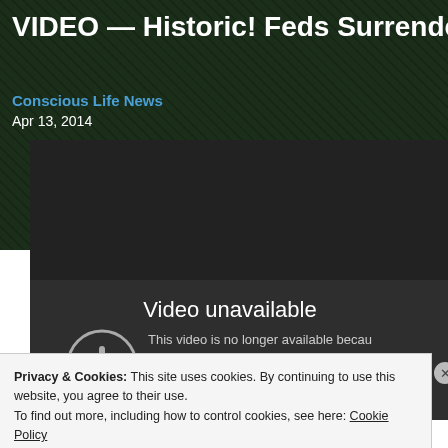VIDEO — Historic! Feds Surrender to Amer
Conscious Life News
Apr 13, 2014
[Figure (screenshot): Embedded YouTube video player showing 'Video unavailable' message. Large dark background with error icon (circle with exclamation mark) and text: 'Video unavailable. This video is no longer available because the YouTube account associated with this video has been terminated.']
Privacy & Cookies: This site uses cookies. By continuing to use this website, you agree to their use.
To find out more, including how to control cookies, see here: Cookie Policy
Close and accept